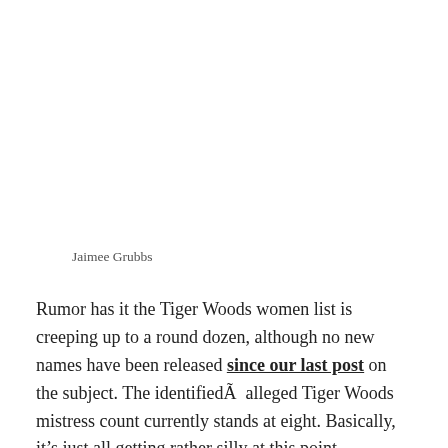Jaimee Grubbs
Rumor has it the Tiger Woods women list is creeping up to a round dozen, although no new names have been released since our last post on the subject. The identifiedÂ  alleged Tiger Woods mistress count currently stands at eight. Basically, it’s just all getting rather silly at this point.